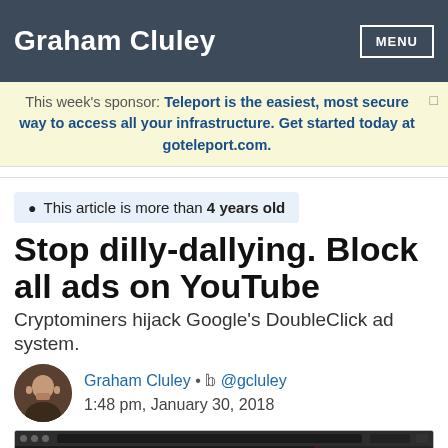Graham Cluley
This week's sponsor: Teleport is the easiest, most secure way to access all your infrastructure. Get started today at goteleport.com.
This article is more than 4 years old
Stop dilly-dallying. Block all ads on YouTube
Cryptominers hijack Google's DoubleClick ad system.
Graham Cluley • @gcluley
1:48 pm, January 30, 2018
[Figure (screenshot): Screenshot of a browser developer tools panel showing network requests, with a YouTube page visible at the bottom and a red-bordered panel on the right side.]